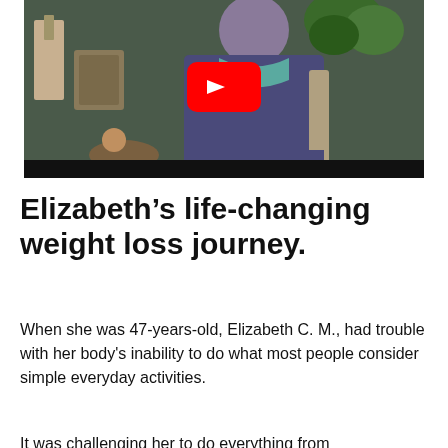[Figure (screenshot): YouTube video thumbnail showing a woman seated indoors wearing a dark blue shirt with teal collar trim, with a red YouTube play button overlay in the center.]
Elizabeth's life-changing weight loss journey.
When she was 47-years-old, Elizabeth C. M., had trouble with her body's inability to do what most people consider simple everyday activities.
It was challenging her to do everything from